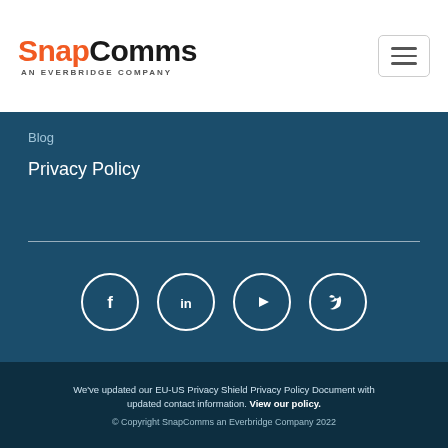[Figure (logo): SnapComms logo with orange 'Snap' and dark 'Comms' text, subtitle 'AN EVERBRIDGE COMPANY']
Blog
Privacy Policy
[Figure (infographic): Social media icons: Facebook, LinkedIn, YouTube, Twitter — white circles on teal background]
We've updated our EU-US Privacy Shield Privacy Policy Document with updated contact information. View our policy.
© Copyright SnapComms an Everbridge Company 2022